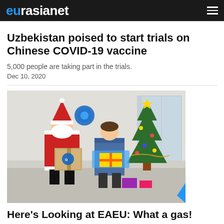eurasianet
Uzbekistan poised to start trials on Chinese COVID-19 vaccine
5,000 people are taking part in the trials.
Dec 10, 2020
[Figure (photo): Santa Claus figure and person in winter coat standing next to a Christmas tree, holding a Gazprom-branded box]
Here’s Looking at EAEU: What a gas!
Unemployment, post-COVID hopes, and moving gas: This and more in our monthly briefing on the Eurasian